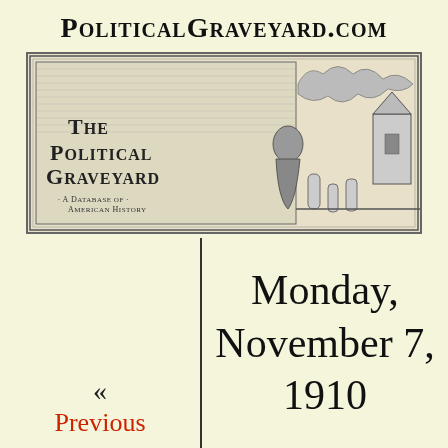PoliticalGraveyard.com
[Figure (illustration): Black and white engraving-style banner image for The Political Graveyard website, showing a graveyard scene with tombstones, a church, and trees. Text reads 'The Political Graveyard — A Database of American History']
Monday, November 7, 1910
« Previous